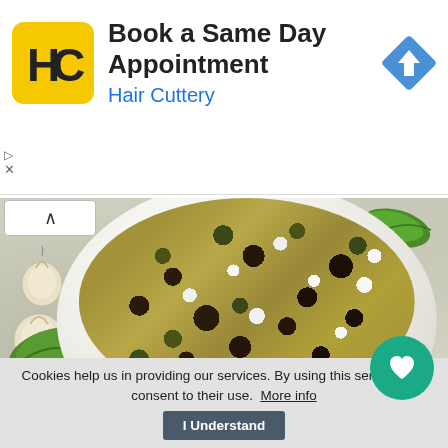[Figure (infographic): Hair Cuttery advertisement banner showing company logo (yellow square with HC letters) and navigation icon (blue diamond with turn arrow). Text: 'Book a Same Day Appointment' with 'Hair Cuttery' subtitle in blue.]
[Figure (photo): Food photograph showing a white bowl filled with quinoa salad with eggplant, kale/spinach, and crumbled white feta cheese, garnished with fresh spinach leaves and garlic cloves on a white lace tablecloth background. A green heart/save button overlay appears at the bottom right.]
Cookies help us in providing our services. By using this service, you consent to their use. More info
I Understand